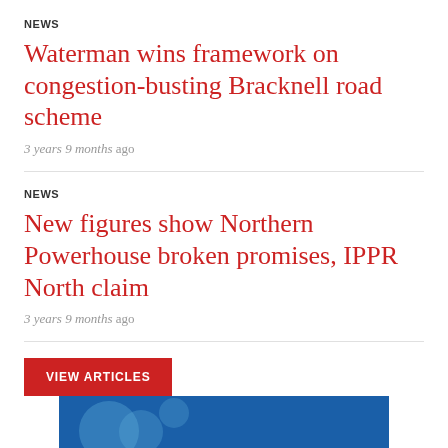NEWS
Waterman wins framework on congestion-busting Bracknell road scheme
3 years 9 months ago
NEWS
New figures show Northern Powerhouse broken promises, IPPR North claim
3 years 9 months ago
VIEW ARTICLES
[Figure (illustration): Blue banner with light blue circular bokeh elements]